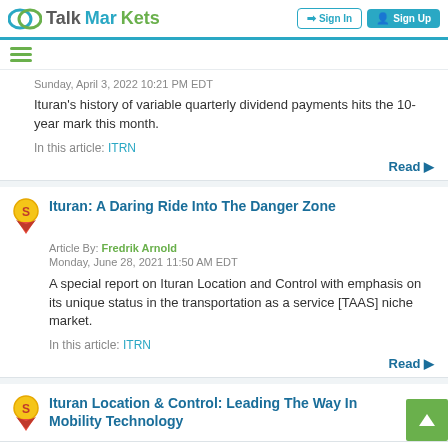TalkMarkets | Sign In | Sign Up
Sunday, April 3, 2022 10:21 PM EDT
Ituran's history of variable quarterly dividend payments hits the 10-year mark this month.
In this article: ITRN
Read ▶
Ituran: A Daring Ride Into The Danger Zone
Article By: Fredrik Arnold
Monday, June 28, 2021 11:50 AM EDT
A special report on Ituran Location and Control with emphasis on its unique status in the transportation as a service [TAAS] niche market.
In this article: ITRN
Read ▶
Ituran Location & Control: Leading The Way In Mobility Technology